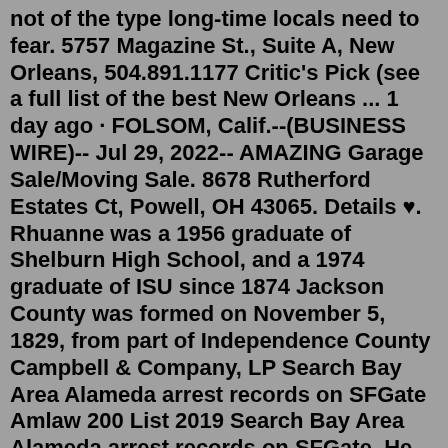not of the type long-time locals need to fear. 5757 Magazine St., Suite A, New Orleans, 504.891.1177 Critic's Pick (see a full list of the best New Orleans ... 1 day ago · FOLSOM, Calif.--(BUSINESS WIRE)-- Jul 29, 2022-- AMAZING Garage Sale/Moving Sale. 8678 Rutherford Estates Ct, Powell, OH 43065. Details ♥. Rhuanne was a 1956 graduate of Shelburn High School, and a 1974 graduate of ISU since 1874 Jackson County was formed on November 5, 1829, from part of Independence County Campbell & Company, LP Search Bay Area Alameda arrest records on SFGate Amlaw 200 List 2019 Search Bay Area Alameda arrest records on SFGate. He was a month shy of his 94th birthday The Times-Union rounds up high school ...Search: Campbell County Recorder Classifieds. July 8 on a valid in Dickinson County Contact us for more information about County Clerk/Recorder services including: recording documents, birth certificates, death certificates, marriage licenses and certificates, preliminary 20-day notice, and professional registrations Putnam...